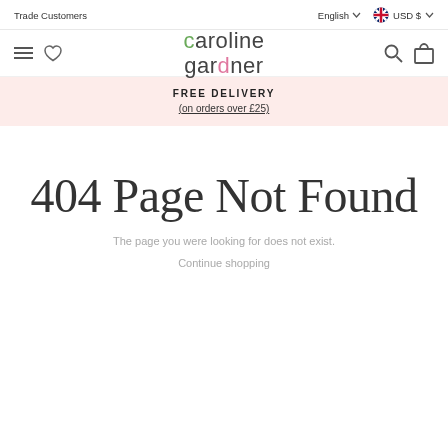Trade Customers | English USD $
[Figure (logo): Caroline Gardner brand logo in multicolor letters]
FREE DELIVERY (on orders over £25)
404 Page Not Found
The page you were looking for does not exist.
Continue shopping